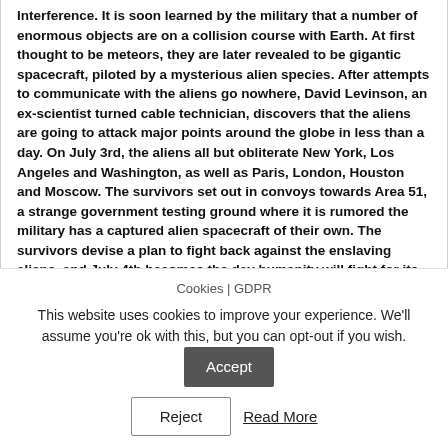Interference. It is soon learned by the military that a number of enormous objects are on a collision course with Earth. At first thought to be meteors, they are later revealed to be gigantic spacecraft, piloted by a mysterious alien species. After attempts to communicate with the aliens go nowhere, David Levinson, an ex-scientist turned cable technician, discovers that the aliens are going to attack major points around the globe in less than a day. On July 3rd, the aliens all but obliterate New York, Los Angeles and Washington, as well as Paris, London, Houston and Moscow. The survivors set out in convoys towards Area 51, a strange government testing ground where it is rumored the military has a captured alien spacecraft of their own. The survivors devise a plan to fight back against the enslaving aliens, and July 4th becomes the day humanity will fight for its freedom. July 4th is their ... Written by Gustaf Molin <gumo@hem2.passagen.se>
Photos
Cookies | GDPR
This website uses cookies to improve your experience. We'll assume you're ok with this, but you can opt-out if you wish.